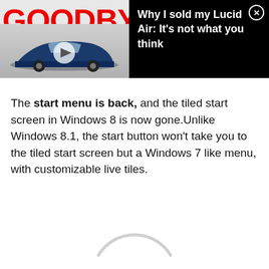[Figure (screenshot): Advertisement banner with 'GOODBYE' text in red on left side over a blue electric car image with play button, and black right side with white text 'Why I sold my Lucid Air: It's not what you think' and a close button]
The start menu is back, and the tiled start screen in Windows 8 is now gone.Unlike Windows 8.1, the start button won't take you to the tiled start screen but a Windows 7 like menu, with customizable live tiles.
[Figure (other): Partial loading spinner arc visible at bottom of page]